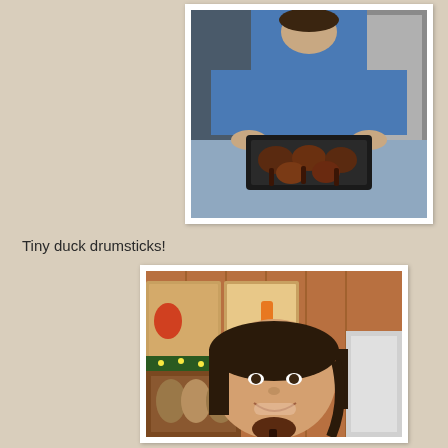[Figure (photo): Person in blue shirt holding a roasting pan with small dark duck drumsticks on a table with a blue tablecloth, kitchen refrigerator in background]
Tiny duck drumsticks!
[Figure (photo): Young woman with dark hair smiling and holding a duck drumstick, in a rustic kitchen with wood paneling, decorative posters, and Christmas greenery in the background]